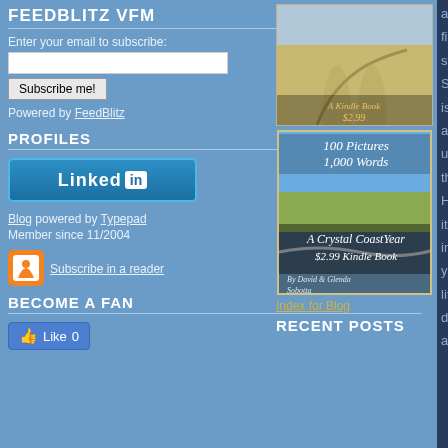FEEDBLITZ VFM
Enter your email to subscribe:
Subscribe me!
Powered by FeedBlitz
PROFILES
[Figure (logo): LinkedIn button with 'Linked in' branding]
Blog powered by Typepad
Member since 11/2004
[Figure (logo): RSS feed orange icon]
Subscribe in a reader
BECOME A FAN
[Figure (logo): Facebook Like button showing Like 0]
a firs sn Sm is an un thi Ho it im yo life de a
[Figure (photo): Book cover showing sandy beach road, 'A Kindle Book $2.99']
[Figure (photo): Book cover: 100 Pictures 1,000 Words - A Crystal Coast Year $2.99 Kindle Book by David & Glenda Sobotta]
Index for Blog
RECENT POSTS